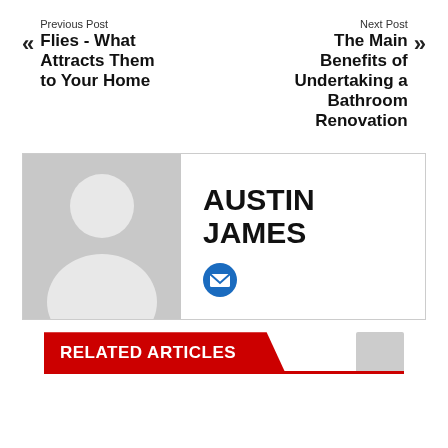Previous Post
Flies - What Attracts Them to Your Home
Next Post
The Main Benefits of Undertaking a Bathroom Renovation
[Figure (illustration): Author profile card with gray placeholder avatar silhouette and author name AUSTIN JAMES with email icon]
RELATED ARTICLES